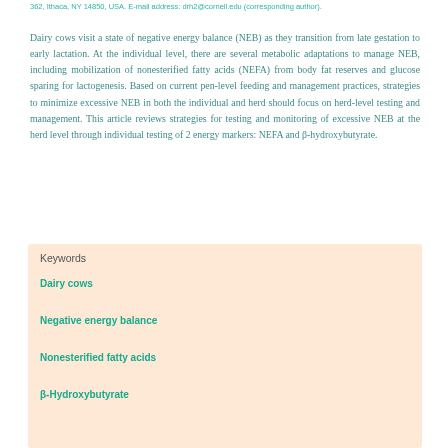362, Ithaca, NY 14850, USA. E-mail address: drh2@cornell.edu (corresponding author).
Dairy cows visit a state of negative energy balance (NEB) as they transition from late gestation to early lactation. At the individual level, there are several metabolic adaptations to manage NEB, including mobilization of nonesterified fatty acids (NEFA) from body fat reserves and glucose sparing for lactogenesis. Based on current pen-level feeding and management practices, strategies to minimize excessive NEB in both the individual and herd should focus on herd-level testing and management. This article reviews strategies for testing and monitoring of excessive NEB at the herd level through individual testing of 2 energy markers: NEFA and β-hydroxybutyrate.
| Keywords |
| --- |
| Dairy cows |
| Negative energy balance |
| Nonesterified fatty acids |
| β-Hydroxybutyrate |